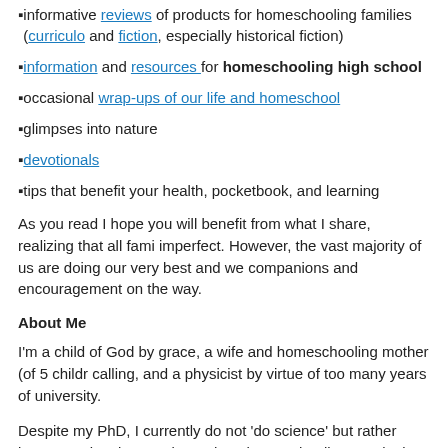informative reviews of products for homeschooling families (curriculo and fiction, especially historical fiction)
information and resources for homeschooling high school
occasional wrap-ups of our life and homeschool
glimpses into nature
devotionals
tips that benefit your health, pocketbook, and learning
As you read I hope you will benefit from what I share, realizing that all fami imperfect. However, the vast majority of us are doing our very best and we companions and encouragement on the way.
About Me
I'm a child of God by grace, a wife and homeschooling mother (of 5 childr calling, and a physicist by virtue of too many years of university.
Despite my PhD, I currently do not 'do science' but rather invest my time in pursuits such as homeschooling, gardening, homemaking, learning about h aloud, making music, reviewing homeschool-friendly products, blogging, a good steward of our time, money, and energy. As our children grow up, I'm